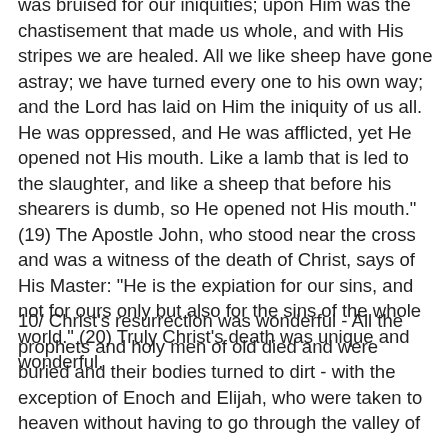was bruised for our iniquities; upon Him was the chastisement that made us whole, and with His stripes we are healed. All we like sheep have gone astray; we have turned every one to his own way; and the Lord has laid on Him the iniquity of us all. He was oppressed, and He was afflicted, yet He opened not His mouth. Like a lamb that is led to the slaughter, and like a sheep that before his shearers is dumb, so He opened not His mouth." (19) The Apostle John, who stood near the cross and was a witness of the death of Christ, says of His Master: "He is the expiation for our sins, and not for ours only but also for the sins of the whole world." (20) Truly Christ's death was unique and wonderful.
10/ Christ's resurrection was wonderful - All the prophets and holy men of old died and were buried and their bodies turned to dirt - with the exception of Enoch and Elijah, who were taken to heaven without having to go through the valley of